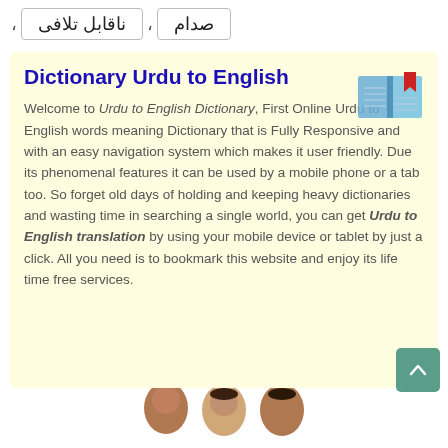صدام , ناقابل تلافی ,
Dictionary Urdu to English
Welcome to Urdu to English Dictionary, First Online Urdu to English words meaning Dictionary that is Fully Responsive and with an easy navigation system which makes it user friendly. Due its phenomenal features it can be used by a mobile phone or a tab too. So forget old days of holding and keeping heavy dictionaries and wasting time in searching a single world, you can get Urdu to English translation by using your mobile device or tablet by just a click. All you need is to bookmark this website and enjoy its life time free services.
[Figure (photo): Three people's heads/faces visible at the bottom of the page]
[Figure (illustration): Book icon with bookmark in top right of content box]